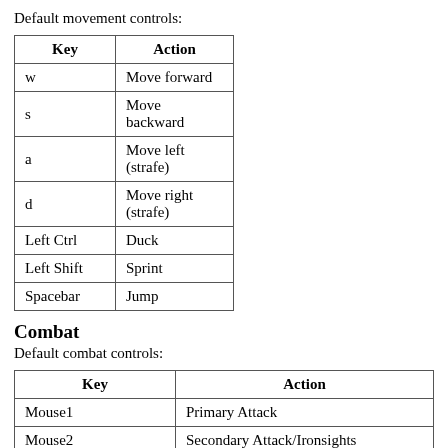Default movement controls:
| Key | Action |
| --- | --- |
| w | Move forward |
| s | Move backward |
| a | Move left (strafe) |
| d | Move right (strafe) |
| Left Ctrl | Duck |
| Left Shift | Sprint |
| Spacebar | Jump |
Combat
Default combat controls:
| Key | Action |
| --- | --- |
| Mouse1 | Primary Attack |
| Mouse2 | Secondary Attack/Ironsights |
| R | Reload |